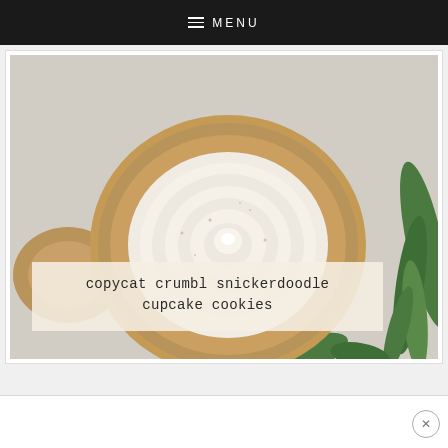≡ MENU
[Figure (photo): Overhead photo of a snickerdoodle cupcake cookie with swirled cream cheese frosting on a cookie base, surrounded by green leaves and another cookie partially visible, on a white marble surface. Semi-transparent text overlay reads 'copycat crumbl snickerdoodle cupcake cookies'.]
copycat crumbl snickerdoodle cupcake cookies